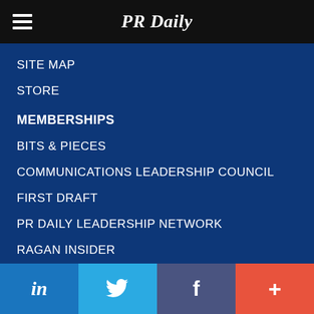PR Daily
SITE MAP
STORE
MEMBERSHIPS
BITS & PIECES
COMMUNICATIONS LEADERSHIP COUNCIL
FIRST DRAFT
PR DAILY LEADERSHIP NETWORK
RAGAN INSIDER
RAGAN TRAINING
in | Twitter | f | +